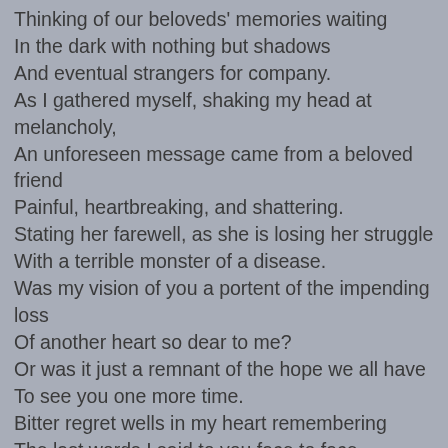Thinking of our beloveds' memories waiting
In the dark with nothing but shadows
And eventual strangers for company.
As I gathered myself, shaking my head at melancholy,
An unforeseen message came from a beloved friend
Painful, heartbreaking, and shattering.
Stating her farewell, as she is losing her struggle
With a terrible monster of a disease.
Was my vision of you a portent of the impending loss
Of another heart so dear to me?
Or was it just a remnant of the hope we all have
To see you one more time.
Bitter regret wells in my heart remembering
The last words I said to you face to face
Were the same ones I said to her when
I saw her in December.
To take better care of yourself,
That you are not alone,
That you mean so much to me – to us all
And that I love you, my dear friend.
If I could ask anything, I would ask
You to watch over my friend.
Keep her company and cheer her spirit on